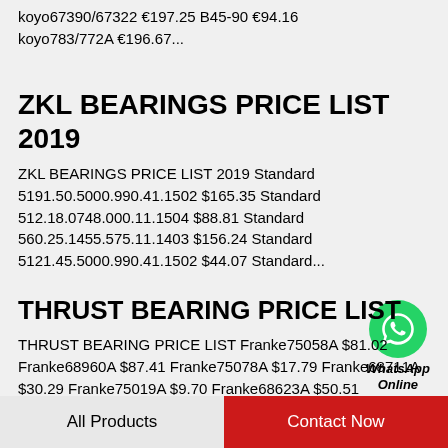koyo67390/67322 €197.25 B45-90 €94.16 koyo783/772A €196.67...
ZKL BEARINGS PRICE LIST 2019
ZKL BEARINGS PRICE LIST 2019 Standard 5191.50.5000.990.41.1502 $165.35 Standard 512.18.0748.000.11.1504 $88.81 Standard 560.25.1455.575.11.1403 $156.24 Standard 5121.45.5000.990.41.1502 $44.07 Standard...
[Figure (logo): WhatsApp green circle icon with phone handset, labeled WhatsApp Online]
THRUST BEARING PRICE LIST
THRUST BEARING PRICE LIST Franke75058A $81.02 Franke68960A $87.41 Franke75078A $17.79 Franke68711A $30.29 Franke75019A $9.70 Franke68623A $50.51 Franke75039A $178.99 Franke77...
All Products    Contact Now